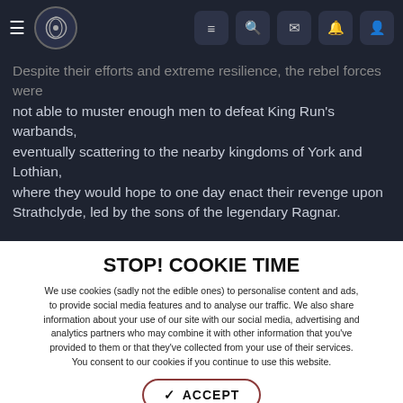Site header with hamburger menu, logo, and icons (list, search, mail, bell, user)
Despite their efforts and extreme resilience, the rebel forces were not able to muster enough men to defeat King Run's warbands, eventually scattering to the nearby kingdoms of York and Lothian, where they would hope to one day enact their revenge upon Strathclyde, led by the sons of the legendary Ragnar.
[Figure (screenshot): Three side-by-side screenshots from a medieval strategy game showing warrior characters on a map with locations labeled TNBHT and ARG]
STOP! COOKIE TIME
We use cookies (sadly not the edible ones) to personalise content and ads, to provide social media features and to analyse our traffic. We also share information about your use of our site with our social media, advertising and analytics partners who may combine it with other information that you've provided to them or that they've collected from your use of their services. You consent to our cookies if you continue to use this website.
✓ ACCEPT